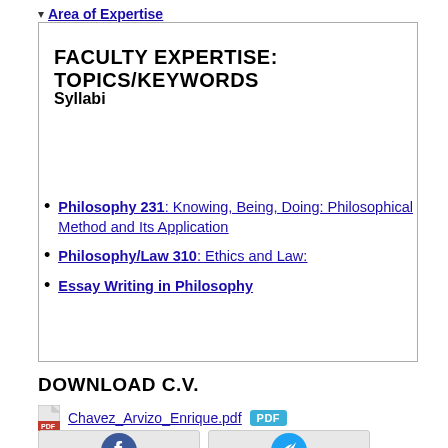▾ Area of Expertise
FACULTY EXPERTISE: TOPICS/KEYWORDS
Syllabi
Philosophy 231: Knowing, Being, Doing: Philosophical Method and Its Application
Philosophy/Law 310: Ethics and Law:
Essay Writing in Philosophy
DOWNLOAD C.V.
Chavez_Arvizo_Enrique.pdf PDF
[Figure (other): Facebook and Twitter social share buttons at bottom of page]